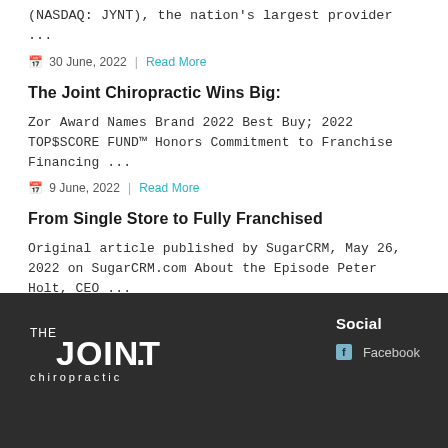(NASDAQ: JYNT), the nation's largest provider ...
30 June, 2022  |  Read More
The Joint Chiropractic Wins Big:
Zor Award Names Brand 2022 Best Buy; 2022 TOP$SCORE FUND™ Honors Commitment to Franchise Financing ...
9 June, 2022  |  Read More
From Single Store to Fully Franchised
Original article published by SugarCRM, May 26, 2022 on SugarCRM.com About the Episode Peter Holt, CEO ...
26 May, 2022  |  Read More
Social  Facebook
[Figure (logo): The Joint Chiropractic logo in white on dark background]